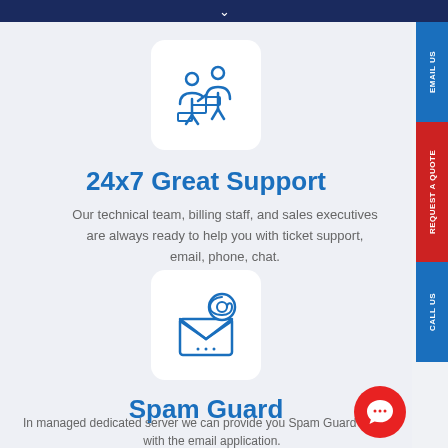[Figure (illustration): Two people collaborating/helping icon in blue line art style on white rounded card]
24x7 Great Support
Our technical team, billing staff, and sales executives are always ready to help you with ticket support, email, phone, chat.
[Figure (illustration): Email/envelope with @ symbol icon in blue line art style on white rounded card]
Spam Guard
In managed dedicated server we can provide you Spam Guard security with the email application.